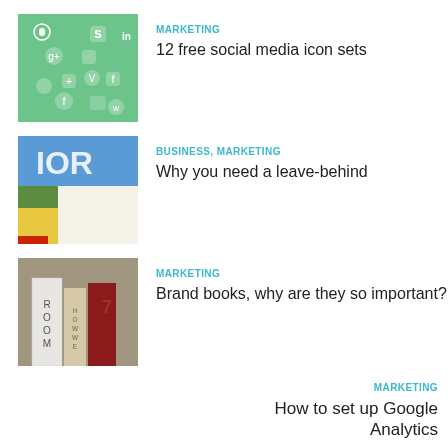[Figure (illustration): Green background with white social media icons (settings, S, Google+, Apple, LinkedIn, +, Vimeo, Facebook, arrow, Facebook, etc.) scattered around]
MARKETING
12 free social media icon sets
[Figure (photo): Colorful printed materials with text 'IOR' visible, showing blue, green, yellow colored sections]
BUSINESS, MARKETING
Why you need a leave-behind
[Figure (photo): Books on a shelf, spines visible with text 'ROOM', 'HOW WE', and partial red book]
MARKETING
Brand books, why are they so important?
MARKETING
How to set up Google Analytics